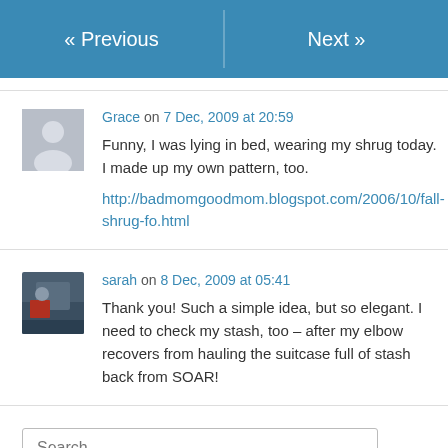« Previous   Next »
Grace on 7 Dec, 2009 at 20:59
Funny, I was lying in bed, wearing my shrug today. I made up my own pattern, too.
http://badmomgoodmom.blogspot.com/2006/10/fall-shrug-fo.html
sarah on 8 Dec, 2009 at 05:41
Thank you! Such a simple idea, but so elegant. I need to check my stash, too – after my elbow recovers from hauling the suitcase full of stash back from SOAR!
Search